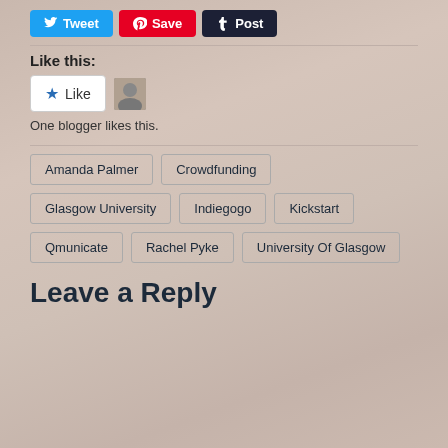[Figure (other): Social share buttons: Tweet (blue), Save (red Pinterest), Post (dark Tumblr)]
Like this:
[Figure (other): WordPress Like button with star icon labeled 'Like' and a small avatar thumbnail]
One blogger likes this.
Amanda Palmer
Crowdfunding
Glasgow University
Indiegogo
Kickstart
Qmunicate
Rachel Pyke
University Of Glasgow
Leave a Reply